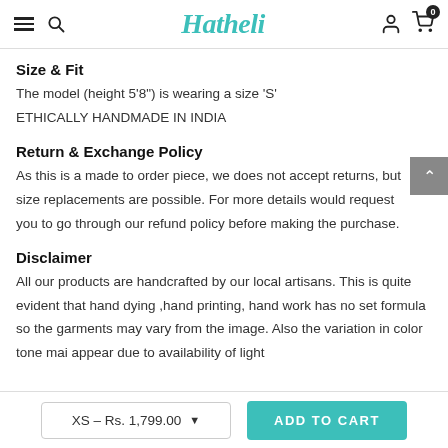Hatheli — navigation header with hamburger menu, search, logo, user icon, and cart (0)
Size & Fit
The model (height 5'8") is wearing a size 'S'
ETHICALLY HANDMADE IN INDIA
Return & Exchange Policy
As this is a made to order piece, we does not accept returns, but size replacements are possible. For more details would request you to go through our refund policy before making the purchase.
Disclaimer
All our products are handcrafted by our local artisans. This is quite evident that hand dying ,hand printing, hand work has no set formula so the garments may vary from the image. Also the variation in color tone mai appear due to availability of light
XS – Rs. 1,799.00   ADD TO CART